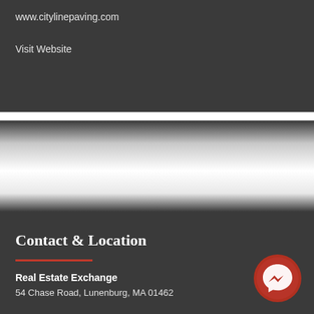www.citylinepaving.com
Visit Website
Contact & Location
Real Estate Exchange
54 Chase Road, Lunenburg, MA 01462
[Figure (logo): Facebook Messenger icon — white lightning bolt speech bubble on a dark red circular background]